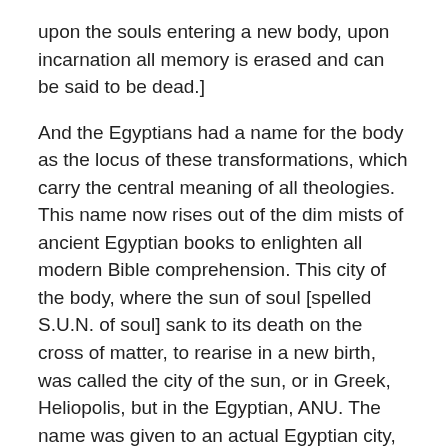upon the souls entering a new body, upon incarnation all memory is erased and can be said to be dead.]
And the Egyptians had a name for the body as the locus of these transformations, which carry the central meaning of all theologies. This name now rises out of the dim mists of ancient Egyptian books to enlighten all modern Bible comprehension. This city of the body, where the sun of soul [spelled S.U.N. of soul] sank to its death on the cross of matter, to rearise in a new birth, was called the city of the sun, or in Greek, Heliopolis, but in the Egyptian, ANU. The name was given to an actual Egyptian city, where, [ladies and gentlemen,] the rites of the death, burial and resurrection of Osiris or Horus, [the two are the same depending upon whether the sun is setting or rising,] were enacted each year; but the name bore a theological significance before it was given to a geographical town.